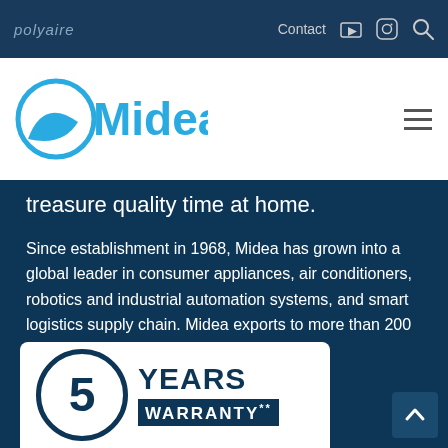polyaire   Contact
[Figure (logo): Midea logo — circular swoosh icon in cyan/blue with 'Midea' wordmark in cyan]
treasure quality time at home.
Since establishment in 1968, Midea has grown into a global leader in consumer appliances, air conditioners, robotics and industrial automation systems, and smart logistics supply chain. Midea exports to more than 200 countries.
Rest assured
[Figure (infographic): 5 YEARS WARRANTY** badge — white rounded rectangle containing a circle with the numeral 5 and bold text YEARS and WARRANTY** on a dark blue background strip]